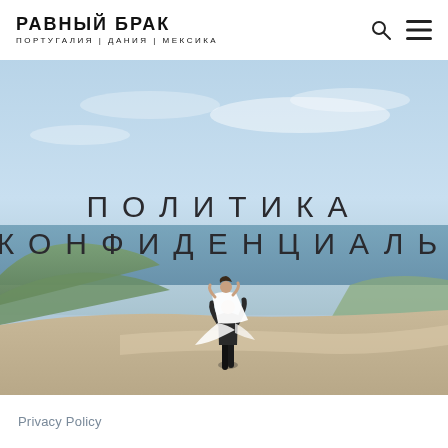РАВНЫЙ БРАК
ПОРТУГАЛИЯ | ДАНИЯ | МЕКСИКА
[Figure (photo): Outdoor coastal landscape with blue sky and sea. A couple, one lifting the other in a white dress, stands on a sandy path with green hills and ocean in the background. Large Cyrillic text overlay reads ПОЛИТИКА КОНФИДЕНЦИАЛЬ (Privacy Policy in Russian).]
ПОЛИТИКА КОНФИДЕНЦИАЛЬ
Privacy Policy